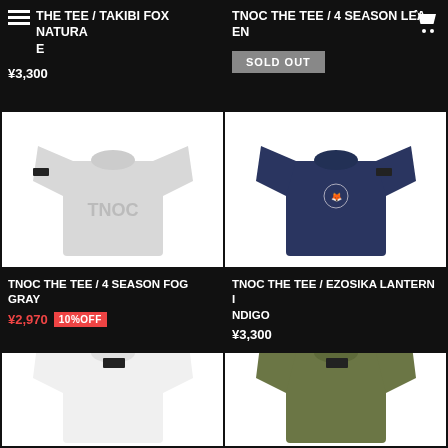THE TEE / TAKIBI FOX NATURA E | ¥3,300
TNOC THE TEE / 4 SEASON LEA EN - SOLD OUT
[Figure (photo): White TNOC logo t-shirt on white background]
[Figure (photo): Navy blue t-shirt with small graphic on white background]
TNOC THE TEE / 4 SEASON FOG GRAY ¥2,970 10%OFF
TNOC THE TEE / EZOSIKA LANTERN INDIGO ¥3,300
[Figure (photo): White t-shirt partially visible at bottom]
[Figure (photo): Olive/khaki t-shirt partially visible at bottom]